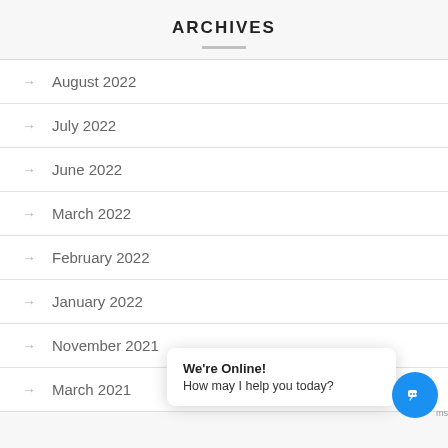ARCHIVES
August 2022
July 2022
June 2022
March 2022
February 2022
January 2022
November 2021
March 2021
We're Online! How may I help you today?